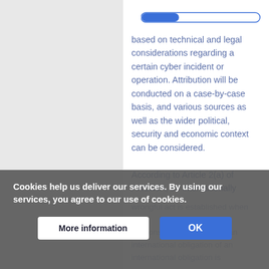[Figure (other): A horizontal progress bar with blue filled portion on the left and white/outline on the right, indicating page reading progress.]
based on technical and legal considerations regarding a certain cyber incident or operation. Attribution will be conducted on a case-by-case basis, and various sources as well as the wider political, security and economic context can be considered.
According to Article 2(a) of ARSIWA, an internationally wrongful act is established when the act constitutes a breach of an international obligation is
Cookies help us deliver our services. By using our services, you agree to our use of cookies.